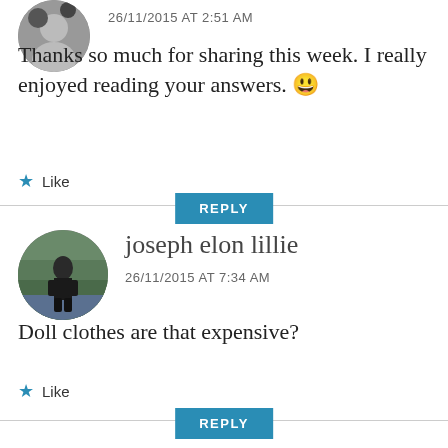26/11/2015 AT 2:51 AM
Thanks so much for sharing this week. I really enjoyed reading your answers. 😀
★ Like
REPLY
joseph elon lillie
26/11/2015 AT 7:34 AM
Doll clothes are that expensive?
★ Like
REPLY